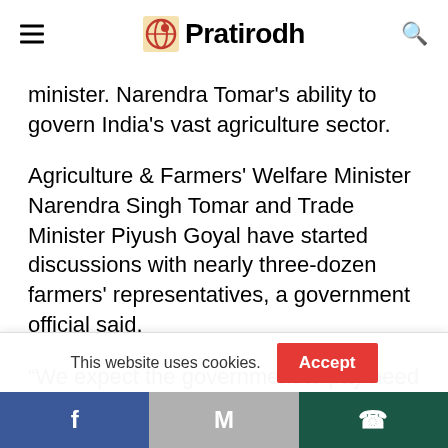Pratirodh
minister. Narendra Tomar's ability to govern India's vast agriculture sector.
Agriculture & Farmers' Welfare Minister Narendra Singh Tomar and Trade Minister Piyush Goyal have started discussions with nearly three-dozen farmers' representatives, a government official said.
“We expect the government to pay heed to
This website uses cookies.
Facebook | Gmail | WhatsApp